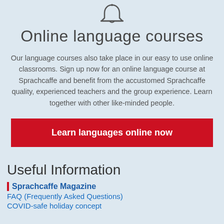[Figure (illustration): Bell/notification icon at the top center of the page]
Online language courses
Our language courses also take place in our easy to use online classrooms. Sign up now for an online language course at Sprachcaffe and benefit from the accustomed Sprachcaffe quality, experienced teachers and the group experience. Learn together with other like-minded people.
Learn languages online now
Useful Information
Sprachcaffe Magazine
FAQ (Frequently Asked Questions)
COVID-safe holiday concept